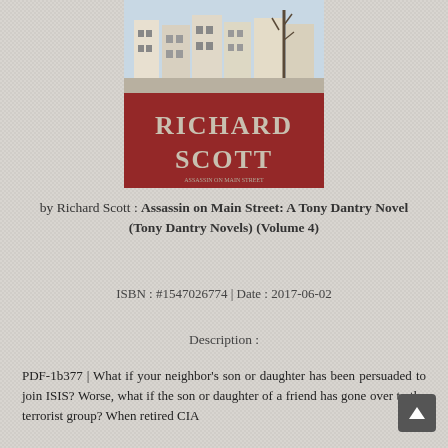[Figure (illustration): Book cover for 'Assassin on Main Street: A Tony Dantry Novel (Tony Dantry Novels) (Volume 4)' by Richard Scott. Shows a brownstone street scene at the top with bare winter trees, and a red lower half with the author's name 'RICHARD SCOTT' in large silver serif letters.]
by Richard Scott : Assassin on Main Street: A Tony Dantry Novel (Tony Dantry Novels) (Volume 4)
ISBN : #1547026774 | Date : 2017-06-02
Description :
PDF-1b377 | What if your neighbor's son or daughter has been persuaded to join ISIS? Worse, what if the son or daughter of a friend has gone over to the terrorist group? When retired CIA